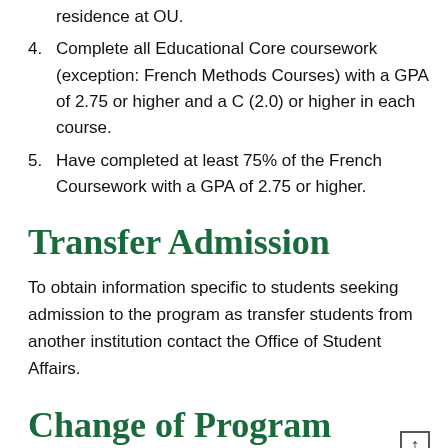residence at OU.
4. Complete all Educational Core coursework (exception: French Methods Courses) with a GPA of 2.75 or higher and a C (2.0) or higher in each course.
5. Have completed at least 75% of the French Coursework with a GPA of 2.75 or higher.
Transfer Admission
To obtain information specific to students seeking admission to the program as transfer students from another institution contact the Office of Student Affairs.
Change of Program Policy